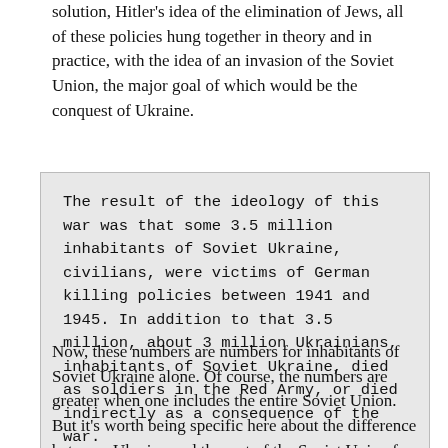solution, Hitler's idea of the elimination of Jews, all of these policies hung together in theory and in practice, with the idea of an invasion of the Soviet Union, the major goal of which would be the conquest of Ukraine.
The result of the ideology of this war was that some 3.5 million inhabitants of Soviet Ukraine, civilians, were victims of German killing policies between 1941 and 1945. In addition to that 3.5 million, about 3 million Ukrainians, inhabitants of Soviet Ukraine, died as soldiers in the Red Army, or died indirectly as a consequence of the war.
Now, these numbers are numbers for inhabitants of Soviet Ukraine alone. Of course, the numbers are greater when one includes the entire Soviet Union. But it's worth being specific here about the difference between Ukraine and the rest of the Soviet Union for a moment.